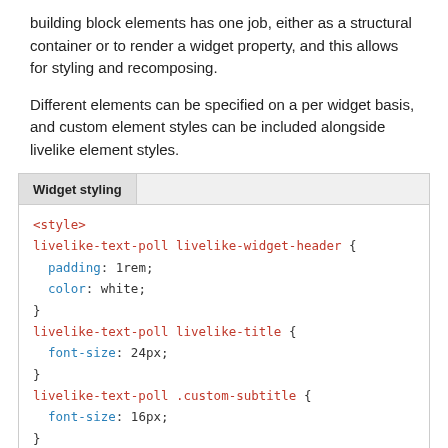building block elements has one job, either as a structural container or to render a widget property, and this allows for styling and recomposing.
Different elements can be specified on a per widget basis, and custom element styles can be included alongside livelike element styles.
[Figure (screenshot): Code block labeled 'Widget styling' showing CSS rules for livelike-text-poll elements including livelike-widget-header, livelike-title, .custom-subtitle, and livelike-widget-body with various CSS properties.]